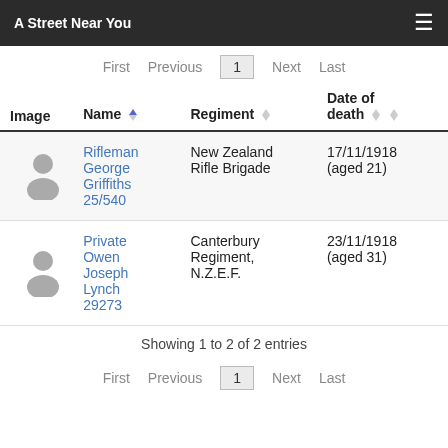A Street Near You
| Image | Name | Regiment | Date of death |
| --- | --- | --- | --- |
| [silhouette] | Rifleman George Griffiths 25/540 | New Zealand Rifle Brigade | 17/11/1918 (aged 21) |
| [silhouette] | Private Owen Joseph Lynch 29273 | Canterbury Regiment, N.Z.E.F. | 23/11/1918 (aged 31) |
Showing 1 to 2 of 2 entries